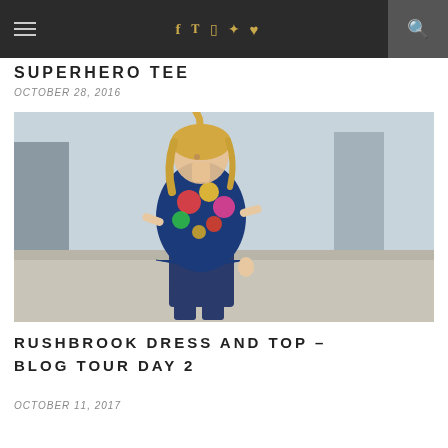Navigation bar with hamburger menu, social icons (f, Twitter, Instagram, Pinterest, Heart), and search icon
SUPERHERO TEE
OCTOBER 28, 2016
[Figure (photo): A young blonde girl wearing a colorful floral sleeveless top and dark jeans, looking down, standing outdoors with stone pillars in background]
RUSHBROOK DRESS AND TOP – BLOG TOUR DAY 2
OCTOBER 11, 2017